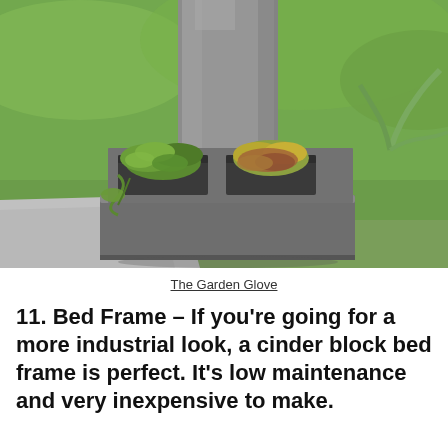[Figure (photo): Cinder blocks stacked and arranged as a planter/bed frame structure with succulents and small plants growing in the hollow openings. Green grass and a concrete surface visible in the background. A tall rectangular concrete pillar stands behind the cinder block arrangement.]
The Garden Glove
11. Bed Frame – If you're going for a more industrial look, a cinder block bed frame is perfect. It's low maintenance and very inexpensive to make.